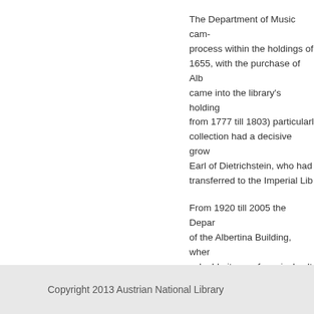The Department of Music cam- process within the holdings of 1655, with the purchase of Alb came into the library's holding from 1777 till 1803) particularl collection had a decisive grow Earl of Dietrichstein, who had transferred to the Imperial Lib
From 1920 till 2005 the Depar of the Albertina Building, wher valuable items of musical cult research. In 2005 it was trans Herrengasse 9).
last update 10/3/2013
Copyright 2013 Austrian National Library